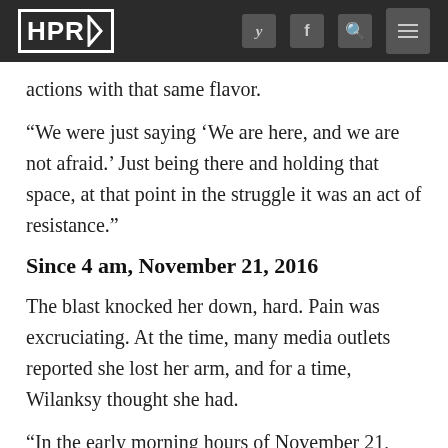HPR
actions with that same flavor.
“We were just saying ‘We are here, and we are not afraid.’ Just being there and holding that space, at that point in the struggle it was an act of resistance.”
Since 4 am, November 21, 2016
The blast knocked her down, hard. Pain was excruciating. At the time, many media outlets reported she lost her arm, and for a time, Wilanksy thought she had.
“In the early morning hours of November 21, 2016,